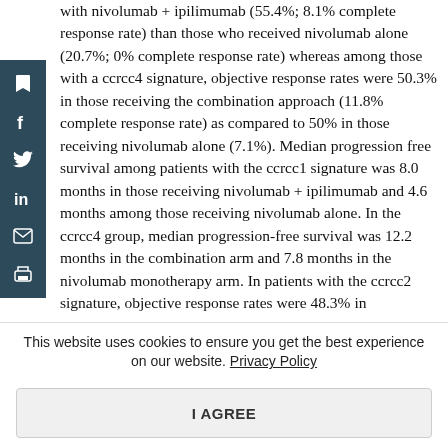with nivolumab + ipilimumab (55.4%; 8.1% complete response rate) than those who received nivolumab alone (20.7%; 0% complete response rate) whereas among those with a ccrcc4 signature, objective response rates were 50.3% in those receiving the combination approach (11.8% complete response rate) as compared to 50% in those receiving nivolumab alone (7.1%). Median progression free survival among patients with the ccrcc1 signature was 8.0 months in those receiving nivolumab + ipilimumab and 4.6 months among those receiving nivolumab alone. In the ccrcc4 group, median progression-free survival was 12.2 months in the combination arm and 7.8 months in the nivolumab monotherapy arm. In patients with the ccrcc2 signature, objective response rates were 48.3% in
This website uses cookies to ensure you get the best experience on our website. Privacy Policy
I AGREE